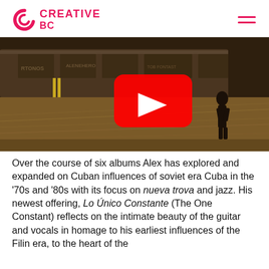CREATIVE BC
[Figure (screenshot): YouTube video thumbnail showing a person standing in a field of dry grass with a freight train in the background. A red YouTube play button is overlaid in the center.]
Over the course of six albums Alex has explored and expanded on Cuban influences of soviet era Cuba in the '70s and '80s with its focus on nueva trova and jazz. His newest offering, Lo Único Constante (The One Constant) reflects on the intimate beauty of the guitar and vocals in homage to his earliest influences of the Filin era, to the heart of the